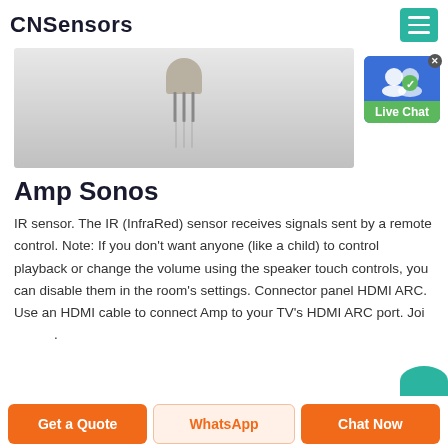CNSensors
[Figure (photo): IR sensor component with metal pins on a light grey background, viewed from above]
[Figure (infographic): Live Chat widget button with blue background and green label]
Amp Sonos
IR sensor. The IR (InfraRed) sensor receives signals sent by a remote control. Note: If you don't want anyone (like a child) to control playback or change the volume using the speaker touch controls, you can disable them in the room's settings. Connector panel HDMI ARC. Use an HDMI cable to connect Amp to your TV's HDMI ARC port. Joi
Get a Quote | WhatsApp | Chat Now